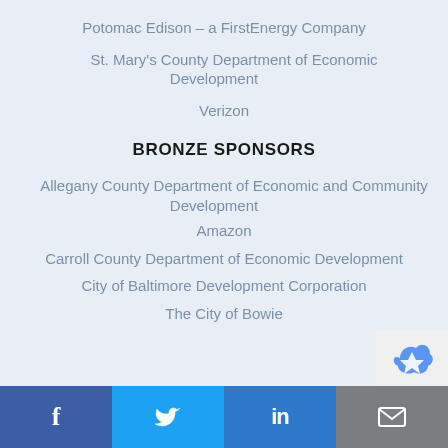Potomac Edison – a FirstEnergy Company
St. Mary's County Department of Economic Development
Verizon
BRONZE SPONSORS
Allegany County Department of Economic and Community Development
Amazon
Carroll County Department of Economic Development
City of Baltimore Development Corporation
The City of Bowie
f  Twitter  in  Email